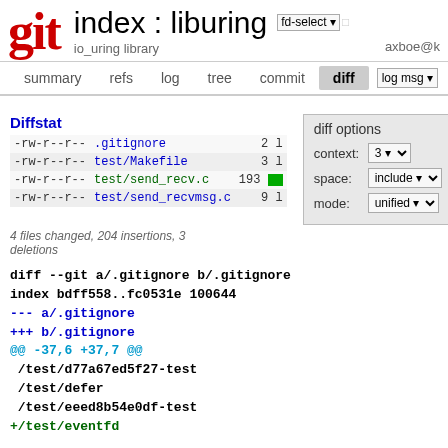git   index : liburing   fd-select   io_uring library   axboe@k
summary   refs   log   tree   commit   diff   log msg
Diffstat
| perms | filename | count | bar |
| --- | --- | --- | --- |
| -rw-r--r-- | .gitignore | 2 | l |
| -rw-r--r-- | test/Makefile | 3 | l |
| -rw-r--r-- | test/send_recv.c | 193 | █ |
| -rw-r--r-- | test/send_recvmsg.c | 9 | l |
diff options
context: 3
space: include
mode: unified
4 files changed, 204 insertions, 3 deletions
diff --git a/.gitignore b/.gitignore
index bdff558..fc0531e 100644
--- a/.gitignore
+++ b/.gitignore
@@ -37,6 +37,7 @@
 /test/d77a67ed5f27-test
 /test/defer
 /test/eeed8b54e0df-test
 +/test/eventfd